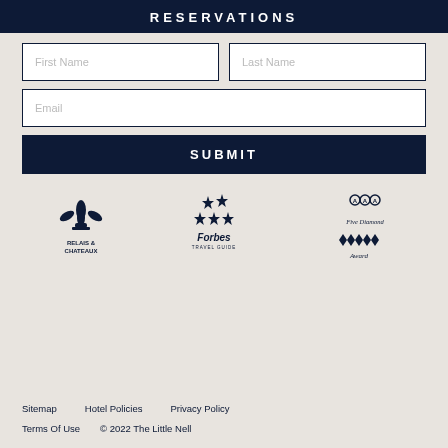RESERVATIONS
First Name
Last Name
Email
SUBMIT
[Figure (logo): Relais & Chateaux fleur-de-lis logo with text RELAIS & CHATEAUX]
[Figure (logo): Forbes Travel Guide five-star logo with stars and text Forbes TRAVEL GUIDE]
[Figure (logo): AAA Five Diamond Award logo with diamonds and script text]
Sitemap   Hotel Policies   Privacy Policy
Terms Of Use   © 2022 The Little Nell